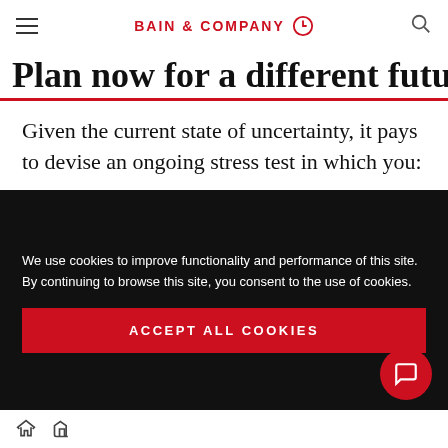BAIN & COMPANY
Plan now for a different future
Given the current state of uncertainty, it pays to devise an ongoing stress test in which you:
Conduct a dynamic scenario analysis to address the less predictable aspects of the crisis.
We use cookies to improve functionality and performance of this site. By continuing to browse this site, you consent to the use of cookies.
ACCEPT ALL COOKIES